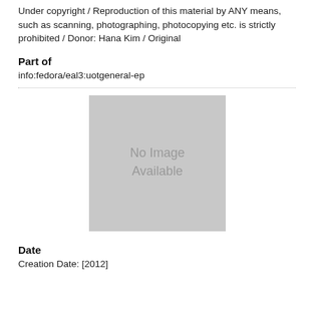Under copyright / Reproduction of this material by ANY means, such as scanning, photographing, photocopying etc. is strictly prohibited / Donor: Hana Kim / Original
Part of
info:fedora/eal3:uotgeneral-ep
[Figure (other): No Image Available placeholder — a grey rectangle with the text 'No Image Available' centered in grey text]
Date
Creation Date: [2012]